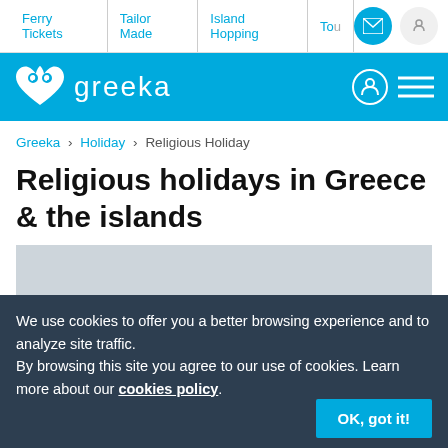Ferry Tickets | Tailor Made | Island Hopping | To...
greeka
Greeka › Holiday › Religious Holiday
Religious holidays in Greece & the islands
[Figure (photo): Gray image placeholder for religious holidays in Greece]
We use cookies to offer you a better browsing experience and to analyze site traffic. By browsing this site you agree to our use of cookies. Learn more about our cookies policy.